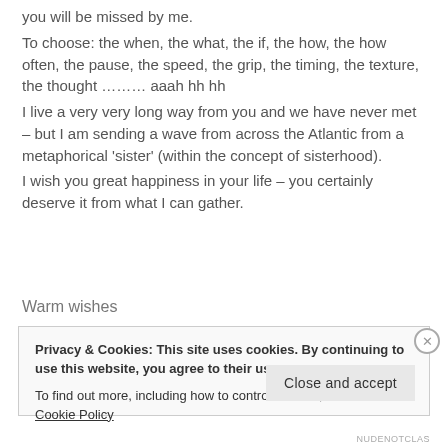you will be missed by me.
To choose: the when, the what, the if, the how, the how often, the pause, the speed, the grip, the timing, the texture, the thought ……… aaah hh hh
I live a very very long way from you and we have never met – but I am sending a wave from across the Atlantic from a metaphorical 'sister' (within the concept of sisterhood).
I wish you great happiness in your life – you certainly deserve it from what I can gather.
Warm wishes
Privacy & Cookies: This site uses cookies. By continuing to use this website, you agree to their use.
To find out more, including how to control cookies, see here: Cookie Policy
Close and accept
NUDENOTCLAS